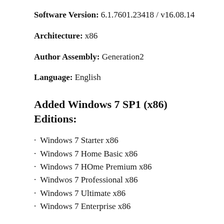Software Version: 6.1.7601.23418 / v16.08.14
Architecture: x86
Author Assembly: Generation2
Language: English
Added Windows 7 SP1 (x86) Editions:
Windows 7 Starter x86
Windows 7 Home Basic x86
Windows 7 HOme Premium x86
Windwos 7 Professional x86
Windows 7 Ultimate x86
Windows 7 Enterprise x86